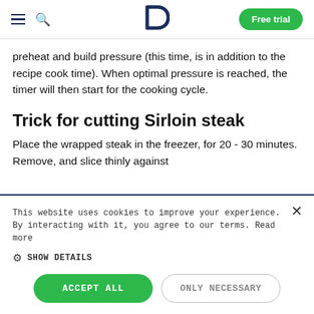D | Free trial
preheat and build pressure (this time, is in addition to the recipe cook time). When optimal pressure is reached, the timer will then start for the cooking cycle.
Trick for cutting Sirloin steak
Place the wrapped steak in the freezer, for 20 - 30 minutes. Remove, and slice thinly against the…
This website uses cookies to improve your experience. By interacting with it, you agree to our terms. Read more
⚙ SHOW DETAILS
ACCEPT ALL   ONLY NECESSARY